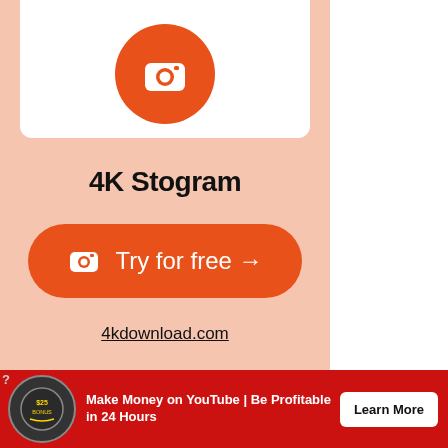[Figure (infographic): 4K Stogram advertisement card with salmon/peach background. Shows Instagram-style camera icon in orange circle, app name '4K Stogram', orange 'Try for free →' button with camera icon, and '4kdownload.com' underlined link.]
[Figure (infographic): Red banner advertisement: circle badge icon on left, text 'Make Money on YouTube | Be Profitable in 24 Hours', white 'Learn More' button on right.]